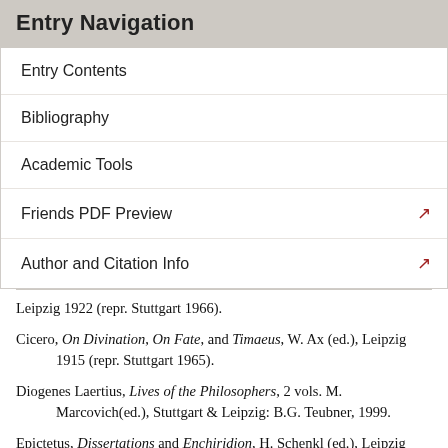Entry Navigation
Entry Contents
Bibliography
Academic Tools
Friends PDF Preview
Author and Citation Info
Leipzig 1922 (repr. Stuttgart 1966).
Cicero, On Divination, On Fate, and Timaeus, W. Ax (ed.), Leipzig 1915 (repr. Stuttgart 1965).
Diogenes Laertius, Lives of the Philosophers, 2 vols. M. Marcovich(ed.), Stuttgart & Leipzig: B.G. Teubner, 1999.
Epictetus, Dissertations and Enchiridion, H. Schenkl (ed.), Leipzig 1916.
Philoponus, Commentary on Aristotle's 'Prior Analytics', M. Wallies (ed.) CAG 13.2, Berlin: G. Reimer, 1905.